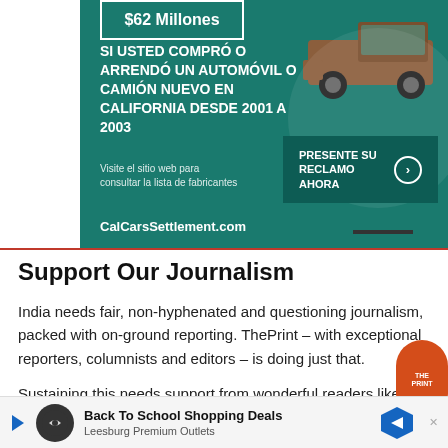[Figure (infographic): Advertisement banner in teal/green color with Spanish text: SI USTED COMPRÓ O ARRENDÓ UN AUTOMÓVIL O CAMIÓN NUEVO EN CALIFORNIA DESDE 2001 A 2003. Shows a brown pickup truck. CTA button: PRESENTE SU RECLAMO AHORA. Website: CalCarsSettlement.com]
Support Our Journalism
India needs fair, non-hyphenated and questioning journalism, packed with on-ground reporting. ThePrint – with exceptional reporters, columnists and editors – is doing just that.
Sustaining this needs support from wonderful readers like you.
Whe... a paid...
[Figure (infographic): Bottom advertisement bar: Back To School Shopping Deals, Leesburg Premium Outlets]